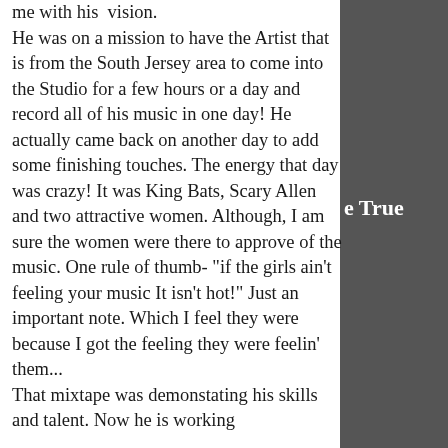me with his vision. He was on a mission to have the Artist that is from the South Jersey area to come into the Studio for a few hours or a day and record all of his music in one day! He actually came back on another day to add some finishing touches. The energy that day was crazy! It was King Bats, Scary Allen and two attractive women. Although, I am sure the women were there to approve of the music. One rule of thumb- "if the girls ain't feeling your music It isn't hot!" Just an important note. Which I feel they were because I got the feeling they were feelin' them... That mixtape was demonstating his skills and talent. Now he is working